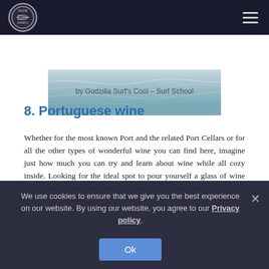[Figure (logo): Taste Porto circular logo on dark navy navigation bar with hamburger menu icon]
[Figure (photo): Ocean/sea surface photo, muted teal and grey tones, possibly surf scene]
by Godzilla Surf's Cool – Surf School
8. Portuguese wine
Whether for the most known Port and the related Port Cellars or for all the other types of wonderful wine you can find here, imagine just how much you can try and learn about wine while all cozy inside. Looking for the ideal spot to pour yourself a glass of wine after a day on the town? Here are some of our favorite wine bars
We use cookies to ensure that we give you the best experience on our website. By using our website, you agree to our Privacy policy.
Ok